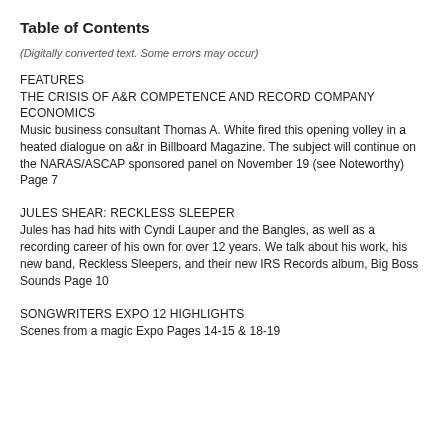Table of Contents
(Digitally converted text. Some errors may occur)
FEATURES
THE CRISIS OF A&R COMPETENCE AND RECORD COMPANY ECONOMICS
Music business consultant Thomas A. White fired this opening volley in a heated dialogue on a&r in Billboard Magazine. The subject will continue on the NARAS/ASCAP sponsored panel on November 19 (see Noteworthy) Page 7
JULES SHEAR: RECKLESS SLEEPER
Jules has had hits with Cyndi Lauper and the Bangles, as well as a recording career of his own for over 12 years. We talk about his work, his new band, Reckless Sleepers, and their new IRS Records album, Big Boss Sounds Page 10
SONGWRITERS EXPO 12 HIGHLIGHTS
Scenes from a magic Expo Pages 14-15 & 18-19